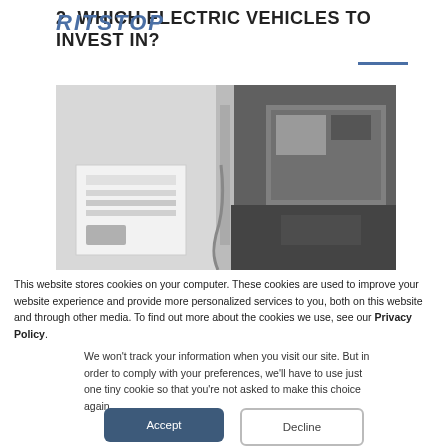RITSTOP
2  WHICH ELECTRIC VEHICLES TO INVEST IN?
[Figure (photo): Black and white photograph of electric vehicle charging station with EV truck plugged in]
This website stores cookies on your computer. These cookies are used to improve your website experience and provide more personalized services to you, both on this website and through other media. To find out more about the cookies we use, see our Privacy Policy.
We won't track your information when you visit our site. But in order to comply with your preferences, we'll have to use just one tiny cookie so that you're not asked to make this choice again.